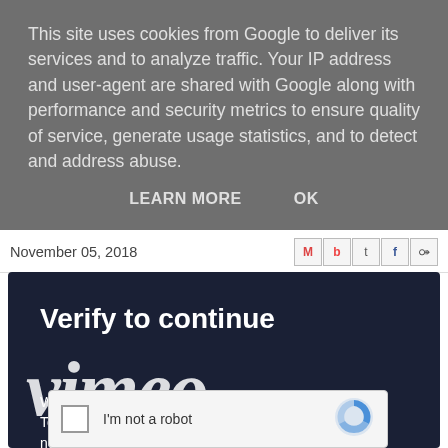This site uses cookies from Google to deliver its services and to analyze traffic. Your IP address and user-agent are shared with Google along with performance and security metrics to ensure quality of service, generate usage statistics, and to detect and address abuse.
LEARN MORE    OK
November 05, 2018
[Figure (screenshot): Social share icons: Gmail (M), Blogger (b), Twitter (t), Facebook (f), Pinterest (p)]
Verify to continue
[Figure (logo): Vimeo logo in large italic white text overlaid on dark background]
We detected a number of errors from your account. To continue, please confirm that youâre not a spambot).
[Figure (screenshot): reCAPTCHA widget with checkbox and 'I'm not a robot' label and reCAPTCHA logo]